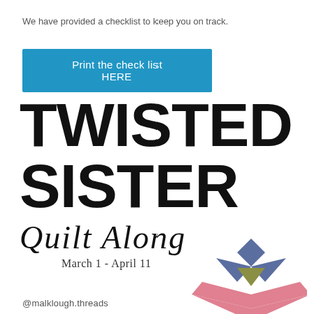We have provided a checklist to keep you on track.
Print the check list HERE
TWISTED SISTER Quilt Along March 1 - April 11
[Figure (illustration): Geometric quilt block logo made of colored triangles and a diamond: blue diamond on top, blue triangles on sides, olive/green triangle in center, pink/salmon large V-shape at bottom]
@malklough.threads